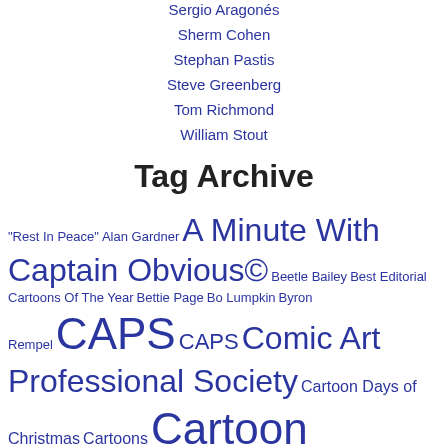Sergio Aragonés
Sherm Cohen
Stephan Pastis
Steve Greenberg
Tom Richmond
William Stout
Tag Archive
"Rest In Peace" Alan Gardner A Minute With Captain Obvious© Beetle Bailey Best Editorial Cartoons Of The Year Bettie Page Bo Lumpkin Byron Rempel CAPS CAPS Comic Art Professional Society Cartoon Days of Christmas Cartoons Cartoon Strips Circle of Concern Comic Art Professional Society Comics David Paccia David Wasting Paper Doodle4NF Dunkin Donuts Editorial Cartoons FIDDLESTIX© Guest Strips Hi and Lois International Cartoonist Conspiracy Looney Tunes Maxwell Patterson MeTV Network Michael Pohrer Mort Walker National Cartoonists Society Newsblaze Newspaper Comics